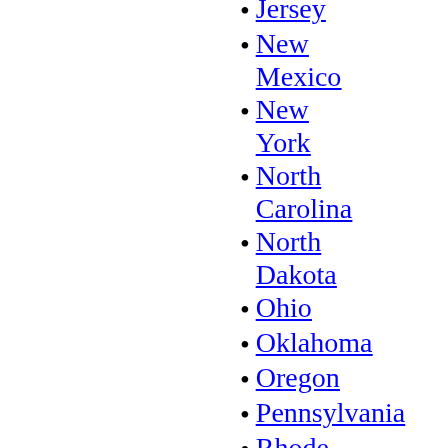Jersey
New Mexico
New York
North Carolina
North Dakota
Ohio
Oklahoma
Oregon
Pennsylvania
Rhode Island
South Carolina
South Dakota
Tennessee
Texas
Utah
Vermont
Virginia
Washington
West